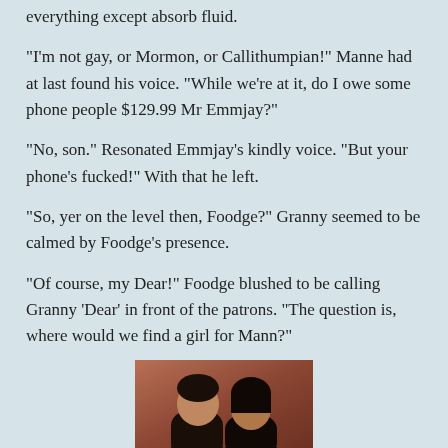everything except absorb fluid.
“I’m not gay, or Mormon, or Callithumpian!” Manne had at last found his voice. “While we’re at it, do I owe some phone people $129.99 Mr Emmjay?”
“No, son.” Resonated Emmjay’s kindly voice. "But your phone’s fucked!” With that he left.
“So, yer on the level then, Foodge?” Granny seemed to be calmed by Foodge’s presence.
“Of course, my Dear!” Foodge blushed to be calling Granny ‘Dear’ in front of the patrons. “The question is, where would we find a girl for Mann?”
[Figure (photo): A vintage photograph of two people with dark hair, heads close together, against a brown/reddish background.]